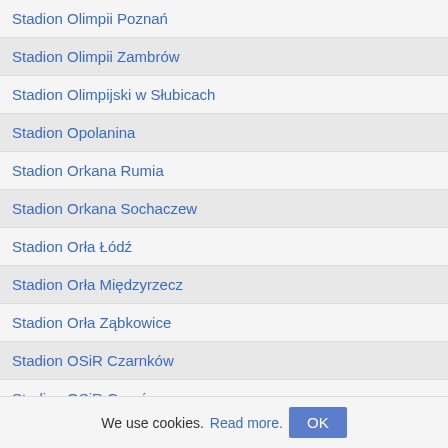Stadion Olimpii Poznań
Stadion Olimpii Zambrów
Stadion Olimpijski w Słubicach
Stadion Opolanina
Stadion Orkana Rumia
Stadion Orkana Sochaczew
Stadion Orła Łódź
Stadion Orła Międzyrzecz
Stadion Orła Ząbkowice
Stadion OSiR Czarnków
Stadion OSiR Gorzów
Stadion OSiR Siedlce
Stadion OSiR Skałka
Stadion OSiR w Raciborzu
Stadion OSiR w Trzciance
Stadion Patrii Buk
We use cookies. Read more. OK